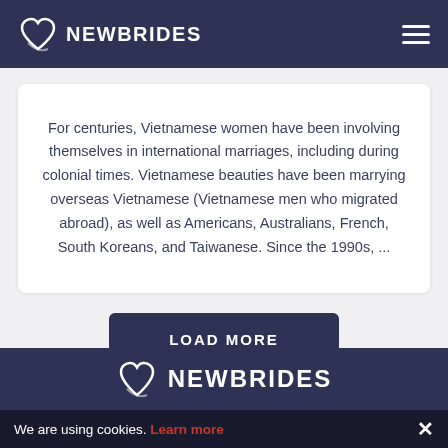NEWBRIDES
For centuries, Vietnamese women have been involving themselves in international marriages, including during colonial times. Vietnamese beauties have been marrying overseas Vietnamese (Vietnamese men who migrated abroad), as well as Americans, Australians, French, South Koreans, and Taiwanese. Since the 1990s, ...
LOAD MORE
NEWBRIDES
We are using cookies. Learn more